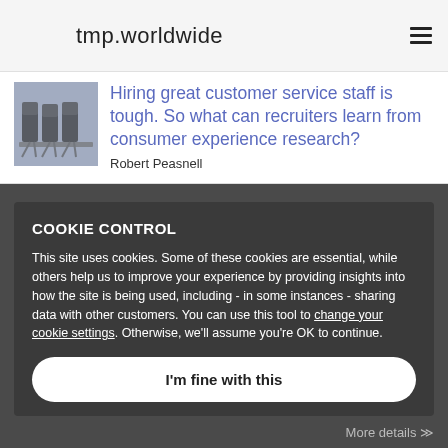tmp.worldwide
Hiring great customer service staff is tough. So what can recruiters learn from consumer experience research?
Robert Peasnell
COOKIE CONTROL
This site uses cookies. Some of these cookies are essential, while others help us to improve your experience by providing insights into how the site is being used, including - in some instances - sharing data with other customers. You can use this tool to change your cookie settings. Otherwise, we'll assume you're OK to continue.
I'm fine with this
More details